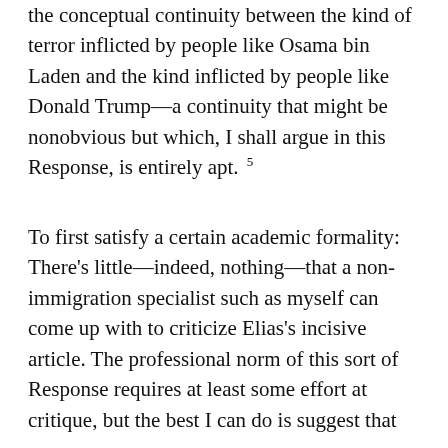the conceptual continuity between the kind of terror inflicted by people like Osama bin Laden and the kind inflicted by people like Donald Trump—a continuity that might be nonobvious but which, I shall argue in this Response, is entirely apt. 5
To first satisfy a certain academic formality: There's little—indeed, nothing—that a non-immigration specialist such as myself can come up with to criticize Elias's incisive article. The professional norm of this sort of Response requires at least some effort at critique, but the best I can do is suggest that